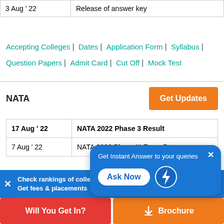| Date | Event |
| --- | --- |
| 3 Aug ' 22 | Release of answer key |
Accepting Colleges | Dates | Application Form | Syllabus | Question Papers | Admit Card | Cut Off | Mock Test
NATA
| Date | Event |
| --- | --- |
| 17 Aug ' 22 | NATA 2022 Phase 3 Result |
| 7 Aug ' 22 | NATA 2022 Phase III Exam Date |
Dates | Application Form | ... | Admit Card | Cut Off | Preparation